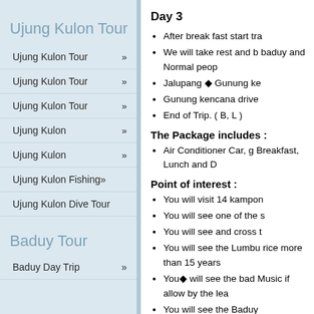Ujung Kulon Tour
Ujung Kulon Tour »
Ujung Kulon Tour »
Ujung Kulon Tour »
Ujung Kulon »
Ujung Kulon »
Ujung Kulon Fishing»
Ujung Kulon Dive Tour
Baduy Tour
Baduy Day Trip »
Day 3
After break fast start tra
We will take rest and b... baduy and Normal peop
Jalupang ◆ Gunung ke
Gunung kencana drive
End of Trip. ( B, L )
The Package includes :
Air Conditioner Car, g... Breakfast, Lunch and D
Point of interest :
You will visit 14 kampon
You will see one of the s
You will see and cross t
You will see the Lumbu... rice more than 15 years
You◆ will see the bad... Music if allow by the lea
You will see the Baduy